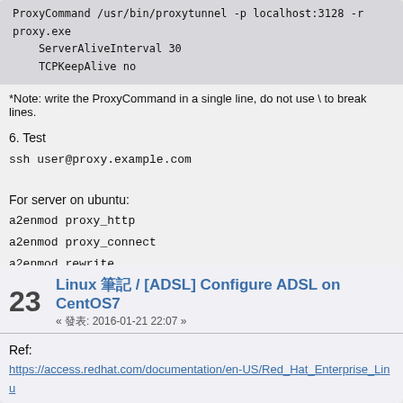ProxyCommand /usr/bin/proxytunnel -p localhost:3128 -r proxy.example.com
    ServerAliveInterval 30
    TCPKeepAlive no
*Note: write the ProxyCommand in a single line, do not use \ to break lines.
6. Test
ssh user@proxy.example.com

For server on ubuntu:
a2enmod proxy_http
a2enmod proxy_connect
a2enmod rewrite
and fix the log path
23  Linux 筆記 / [ADSL] Configure ADSL on CentOS7
« 發表: 2016-01-21 22:07 »
Ref:
https://access.redhat.com/documentation/en-US/Red_Hat_Enterprise_Linux/
Using_NetworkManager_with_the_GNOME_Graphical_User_Interface.htm
Preparation:
yum install -y rp-pppoe

Configuration:
1. run command